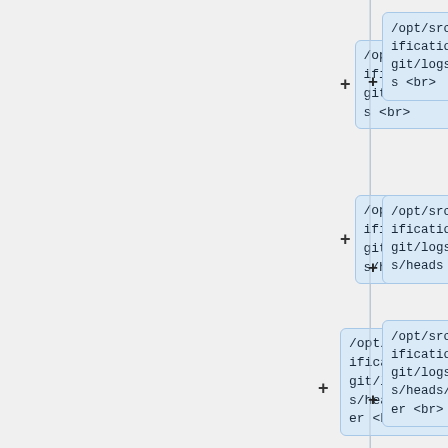[Figure (flowchart): Vertical flowchart showing file path nodes with + symbols. Four visible nodes: /opt/src/modifications/.git/logs/refs <br>, /opt/src/modifications/.git/logs/refs/heads <br>, /opt/src/modifications/.git/logs/refs/heads/master <br>, /opt/src/modifications/.git/logs/refs/remotes <br>, and a partial fifth node /opt/src/mod at the bottom.]